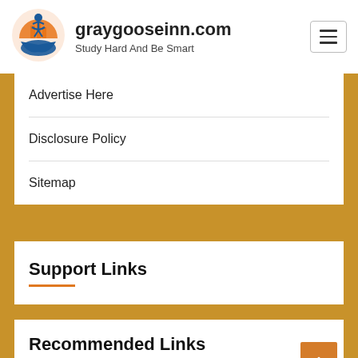[Figure (logo): Gray Goose Inn logo: stylized figure with books and city/building silhouette in orange and blue]
graygooseinn.com
Study Hard And Be Smart
Advertise Here
Disclosure Policy
Sitemap
Support Links
Recommended Links